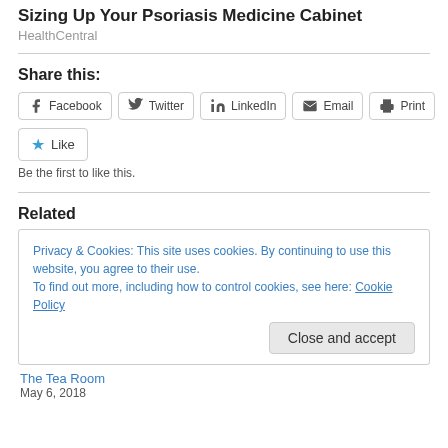Sizing Up Your Psoriasis Medicine Cabinet
HealthCentral
Share this:
[Figure (other): Share buttons: Facebook, Twitter, LinkedIn, Email, Print]
[Figure (other): Like button with star icon and text 'Be the first to like this.']
Related
Privacy & Cookies: This site uses cookies. By continuing to use this website, you agree to their use. To find out more, including how to control cookies, see here: Cookie Policy
The Tea Room
May 6, 2018